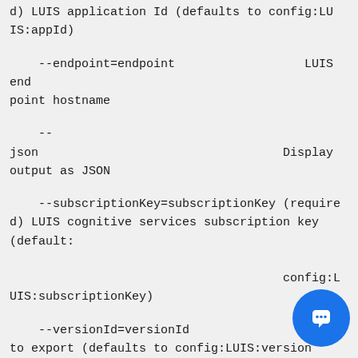d) LUIS application Id (defaults to config:LUIS:appId)
--endpoint=endpoint                    LUIS endpoint hostname
--json                                 Display output as JSON
--subscriptionKey=subscriptionKey (required) LUIS cognitive services subscription key (default: config:LUIS:subscriptionKey)
--versionId=versionId                  Version to export (defaults to config:LUIS:version